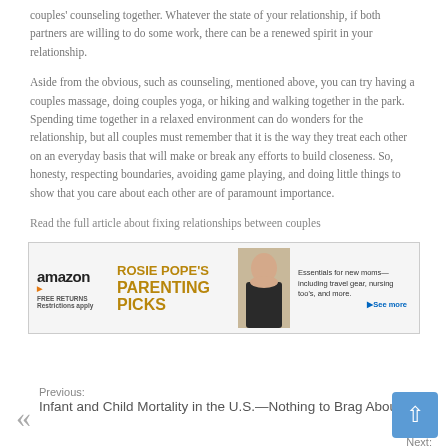couples' counseling together. Whatever the state of your relationship, if both partners are willing to do some work, there can be a renewed spirit in your relationship.
Aside from the obvious, such as counseling, mentioned above, you can try having a couples massage, doing couples yoga, or hiking and walking together in the park. Spending time together in a relaxed environment can do wonders for the relationship, but all couples must remember that it is the way they treat each other on an everyday basis that will make or break any efforts to build closeness. So, honesty, respecting boundaries, avoiding game playing, and doing little things to show that you care about each other are of paramount importance.
Read the full article about fixing relationships between couples
[Figure (photo): Amazon advertisement banner featuring Rosie Pope's Parenting Picks with a photo of a woman and text about essentials for new moms including travel gear, nursing tools, and more.]
Previous: Infant and Child Mortality in the U.S.—Nothing to Brag About
Next: